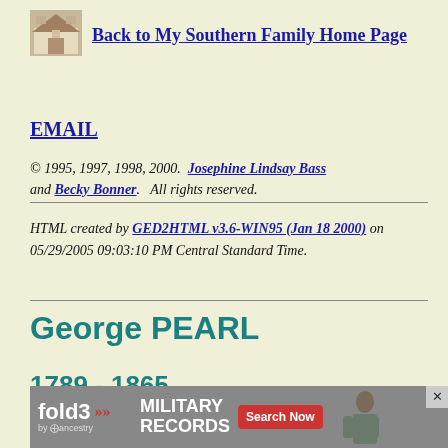[Figure (photo): Small house thumbnail image used as home page link icon]
Back to My Southern Family Home Page
EMAIL
© 1995, 1997, 1998, 2000. Josephine Lindsay Bass and Becky Bonner. All rights reserved.
HTML created by GED2HTML v3.6-WIN95 (Jan 18 2000) on 05/29/2005 09:03:10 PM Central Standard Time.
George PEARL
1789 - 1865
ID Numb
[Figure (other): fold3 by Ancestry Military Records advertisement banner with Search Now button and soldier photo]